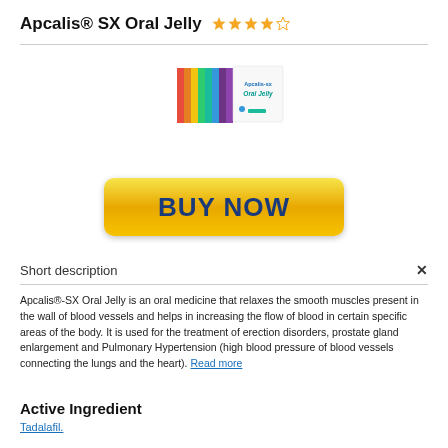Apcalis® SX Oral Jelly ★★★★☆
[Figure (photo): Product image of Apcalis-SX Oral Jelly packaging — colorful striped box with white label]
[Figure (other): Yellow gradient BUY NOW button]
Short description
Apcalis®-SX Oral Jelly is an oral medicine that relaxes the smooth muscles present in the wall of blood vessels and helps in increasing the flow of blood in certain specific areas of the body. It is used for the treatment of erection disorders, prostate gland enlargement and Pulmonary Hypertension (high blood pressure of blood vessels connecting the lungs and the heart). Read more
Active Ingredient
Tadalafil.